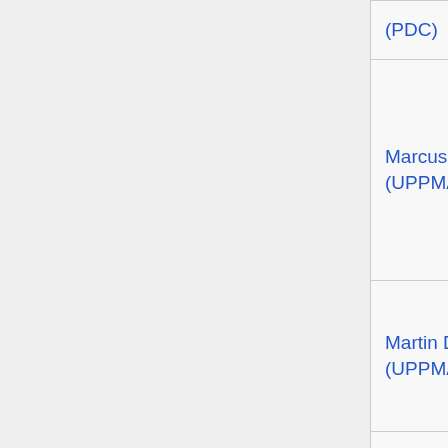| Name | Center | Topics |
| --- | --- | --- |
| (PDC) |  | fluid dynamics |
| Marcus Lundberg (UPPMAX) | UPPMAX | Computational science
Parallel programming
Performance tuning
Sensitive data |
| Martin Dahlö (UPPMAX) | UPPMAX | Bioinformatics |
| Matias Piqueras | UPPMAX | Humanities, Social sciences |